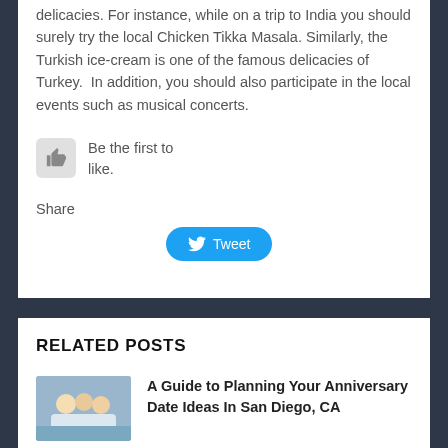delicacies. For instance, while on a trip to India you should surely try the local Chicken Tikka Masala. Similarly, the Turkish ice-cream is one of the famous delicacies of Turkey.  In addition, you should also participate in the local events such as musical concerts.
Be the first to like.
Share
[Figure (screenshot): Tweet button with Twitter bird icon]
RELATED POSTS
[Figure (photo): Family or group of people sitting together, thumbnail image]
A Guide to Planning Your Anniversary Date Ideas In San Diego, CA